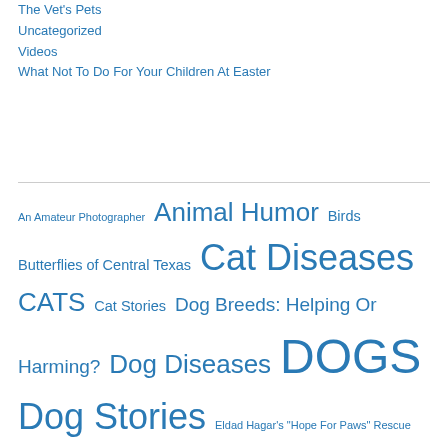The Vet's Pets
Uncategorized
Videos
What Not To Do For Your Children At Easter
An Amateur Photographer  Animal Humor  Birds  Butterflies of Central Texas  Cat Diseases  CATS  Cat Stories  Dog Breeds: Helping Or Harming?  Dog Diseases  DOGS  Dog Stories  Eldad Hagar's "Hope For Paws" Rescue Videos  General cat Information  General Dog Information  General Medical Information  Gripes  Humor and Life  Just Cat Photos  Just Dog Photos  Life  Nature  Other Animals  Pet